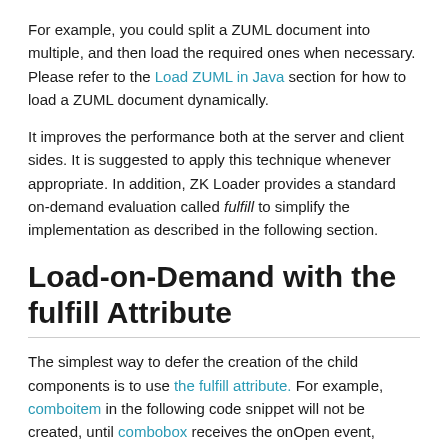For example, you could split a ZUML document into multiple, and then load the required ones when necessary. Please refer to the Load ZUML in Java section for how to load a ZUML document dynamically.
It improves the performance both at the server and client sides. It is suggested to apply this technique whenever appropriate. In addition, ZK Loader provides a standard on-demand evaluation called fulfill to simplify the implementation as described in the following section.
Load-on-Demand with the fulfill Attribute
The simplest way to defer the creation of the child components is to use the fulfill attribute. For example, comboitem in the following code snippet will not be created, until combobox receives the onOpen event, indicating that